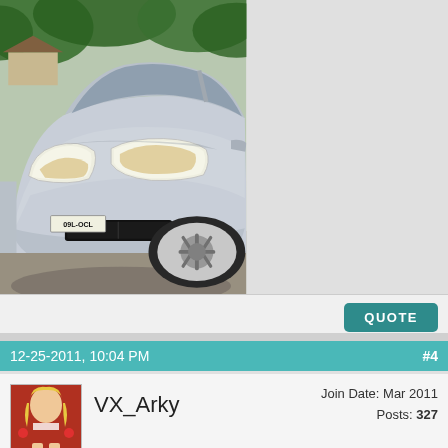[Figure (photo): Front three-quarter view of a silver Honda Civic (EK generation) parked in a driveway, with trees in the background. License plate partially visible reads 09L-OCL.]
QUOTE
12-25-2011, 10:04 PM   #4
[Figure (photo): Avatar of a blonde woman in a red cheerleader outfit]
VX_Arky
Join Date: Mar 2011
Posts: 327
Re: My mpg missle/ drift missle